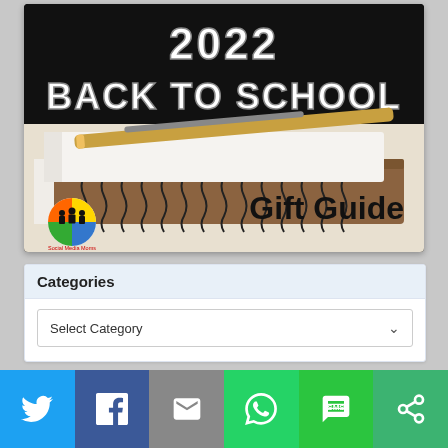[Figure (illustration): 2022 Back to School Gift Guide banner image. Dark/black chalkboard background at top with bold white chalk-style text reading '2022' and 'BACK TO SCHOOL'. Below that, a photo of spiral notebooks and pens stacked on a desk. Bottom-right has large black bold text reading 'Gift Guide'. Bottom-left has a small circular logo with silhouettes of people and colored segments, with small text 'Social Media Moms Network'.]
Categories
Select Category